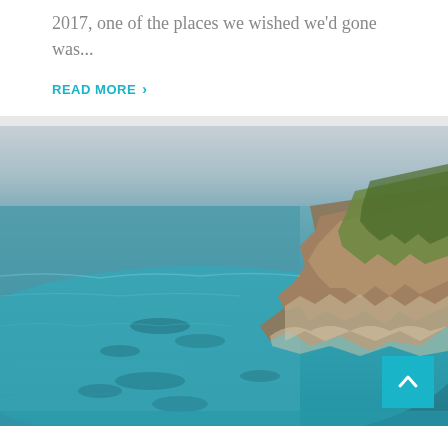2017, one of the places we wished we'd gone was...
READ MORE >
[Figure (photo): Aerial photograph of a rocky, vegetated coastal headland or small island with turquoise-green water surrounding it. The rocky outcrop has brown and green vegetation on top, with shallow water showing underwater rock formations. The upper portion of the image shows open water with a hazy horizon.]